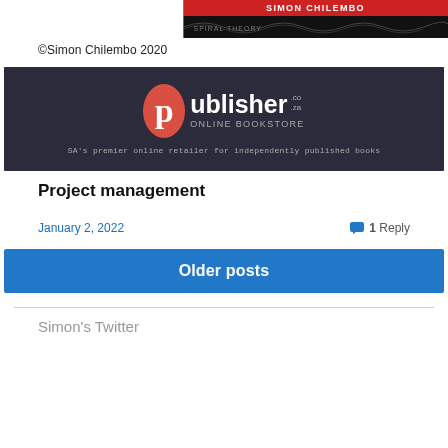[Figure (illustration): Book cover banner for Simon Chilembo with red header and dark background with wave patterns]
©Simon Chilembo 2020
[Figure (logo): Publisher.co.za online bookstore banner - dark background with orange/red oval P logo, text reading 'publisher.co.za ONLINE BOOKSTORE' and tagline "SA's premier online retailer for independently published books"]
Project management
January 2, 2022
1 Reply
Older posts
Simon's Twitter